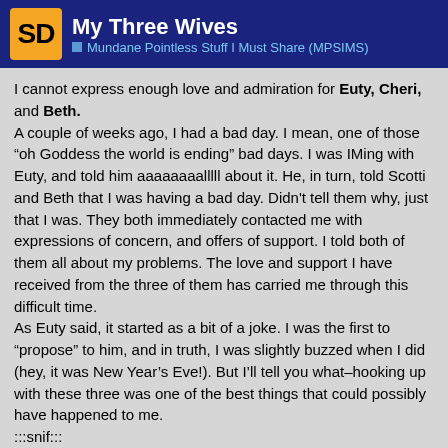SD | My Three Wives | Mundane Pointless Stuff I Must Share (MPSIMS)
I cannot express enough love and admiration for Euty, Cheri, and Beth.
A couple of weeks ago, I had a bad day. I mean, one of those “oh Goddess the world is ending” bad days. I was IMing with Euty, and told him aaaaaaaalllll about it. He, in turn, told Scotti and Beth that I was having a bad day. Didn't tell them why, just that I was. They both immediately contacted me with expressions of concern, and offers of support. I told both of them all about my problems. The love and support I have received from the three of them has carried me through this difficult time.
As Euty said, it started as a bit of a joke. I was the first to “propose” to him, and in truth, I was slightly buzzed when I did (hey, it was New Year’s Eve!). But I’ll tell you what–hooking up with these three was one of the best things that could possibly have happened to me.
:::snif:::